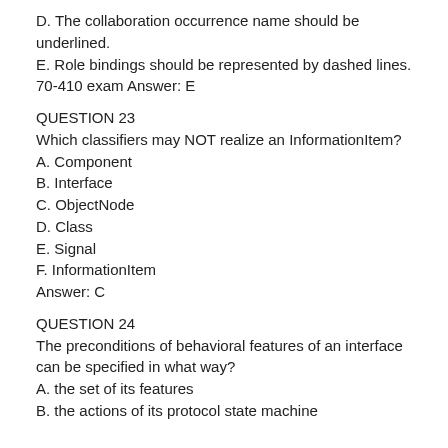D. The collaboration occurrence name should be underlined.
E. Role bindings should be represented by dashed lines.
70-410 exam Answer: E
QUESTION 23
Which classifiers may NOT realize an InformationItem?
A. Component
B. Interface
C. ObjectNode
D. Class
E. Signal
F. InformationItem
Answer: C
QUESTION 24
The preconditions of behavioral features of an interface can be specified in what way?
A. the set of its features
B. the actions of its protocol state machine